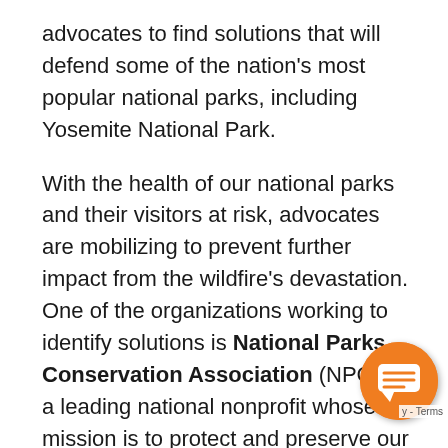advocates to find solutions that will defend some of the nation's most popular national parks, including Yosemite National Park.
With the health of our national parks and their visitors at risk, advocates are mobilizing to prevent further impact from the wildfire's devastation. One of the organizations working to identify solutions is National Parks Conservation Association (NPCA), a leading national nonprofit whose mission is to protect and preserve our national parks, and long partner of SunPower. NPCA knows that addressing increasing wildfires means
[Figure (other): Orange circular chat widget icon in bottom right corner, with a speech bubble icon inside. A small 'Terms' label is partially visible to the right.]